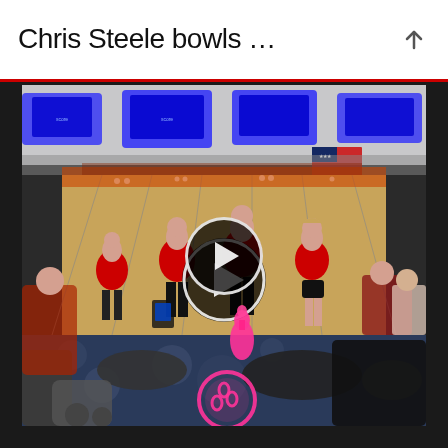Chris Steele bowls …
[Figure (photo): Bowling alley scene showing multiple bowlers in red shirts on the lanes, with scoring monitors overhead, spectators seated watching, and a pink bowling pin/ball graphic in the foreground. A video play button overlay is centered on the image.]